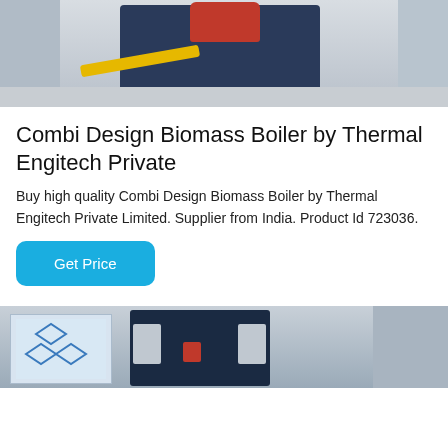[Figure (photo): Photo of a Combi Design Biomass Boiler machine in a warehouse/factory setting, showing a dark blue rectangular boiler with a red rounded top unit, and a yellow mechanical arm, on a concrete floor.]
Combi Design Biomass Boiler by Thermal Engitech Private
Buy high quality Combi Design Biomass Boiler by Thermal Engitech Private Limited. Supplier from India. Product Id 723036.
Get Price
[Figure (photo): Photo showing industrial biomass boiler equipment — a white paneled unit on the left with blue diamond logos, a dark blue central boiler unit with silver side panels and a red logo, and additional equipment on the right.]